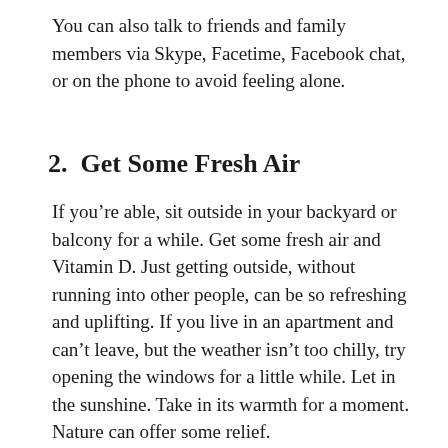You can also talk to friends and family members via Skype, Facetime, Facebook chat, or on the phone to avoid feeling alone.
2.  Get Some Fresh Air
If you're able, sit outside in your backyard or balcony for a while. Get some fresh air and Vitamin D. Just getting outside, without running into other people, can be so refreshing and uplifting. If you live in an apartment and can't leave, but the weather isn't too chilly, try opening the windows for a little while. Let in the sunshine. Take in its warmth for a moment. Nature can offer some relief.